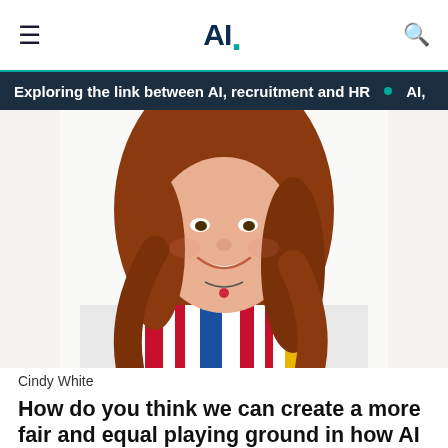AI.
Exploring the link between AI, recruitment and HR • AI,
[Figure (photo): Portrait photo of a woman with long auburn/red hair, smiling, wearing a colorful patterned top with red, blue, white stripes and floral elements, against a white background.]
Cindy White
How do you think we can create a more fair and equal playing ground in how AI technologies impact women?